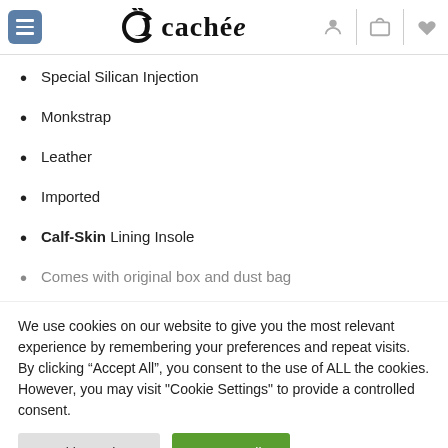cachée
Special Silican Injection
Monkstrap
Leather
Imported
Calf-Skin Lining Insole
Comes with original box and dust bag
We use cookies on our website to give you the most relevant experience by remembering your preferences and repeat visits. By clicking "Accept All", you consent to the use of ALL the cookies. However, you may visit "Cookie Settings" to provide a controlled consent.